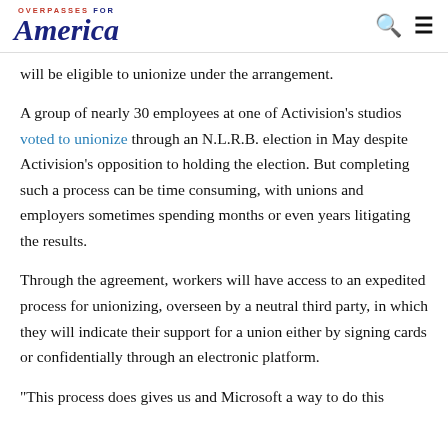OVERPASSES FOR America
will be eligible to unionize under the arrangement.
A group of nearly 30 employees at one of Activision's studios voted to unionize through an N.L.R.B. election in May despite Activision's opposition to holding the election. But completing such a process can be time consuming, with unions and employers sometimes spending months or even years litigating the results.
Through the agreement, workers will have access to an expedited process for unionizing, overseen by a neutral third party, in which they will indicate their support for a union either by signing cards or confidentially through an electronic platform.
"This process does gives us and Microsoft a way to do this